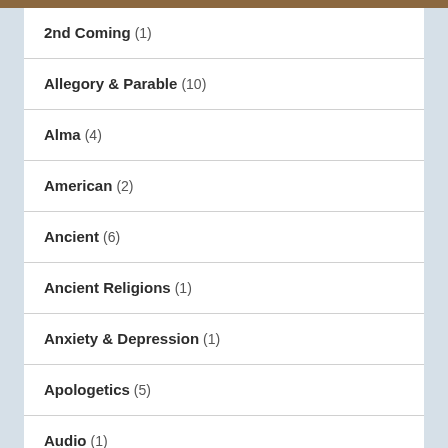2nd Coming (1)
Allegory & Parable (10)
Alma (4)
American (2)
Ancient (6)
Ancient Religions (1)
Anxiety & Depression (1)
Apologetics (5)
Audio (1)